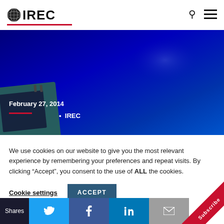IREC
[Figure (screenshot): IREC website hero banner with dark blue gradient background, device silhouette in bottom left, date 'February 27, 2014' and bullet point '• IREC' overlaid in white text, red underline decoration]
We use cookies on our website to give you the most relevant experience by remembering your preferences and repeat visits. By clicking “Accept”, you consent to the use of ALL the cookies.
Cookie settings   ACCEPT
Shares  [Twitter] [Facebook] [LinkedIn] [Email]  Subscribe